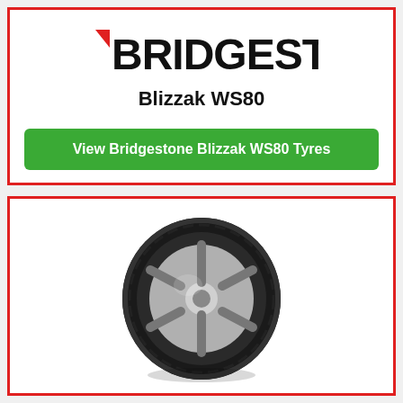[Figure (logo): Bridgestone logo in black with red triangle accent on the B]
Blizzak WS80
View Bridgestone Blizzak WS80 Tyres
[Figure (photo): Bridgestone Blizzak WS80 winter tyre shown at an angle on an alloy wheel]